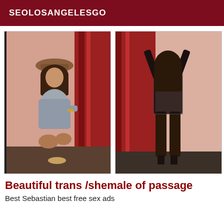SEOLOSANGELESGO
[Figure (photo): Two photos side by side: left shows a person in a silver outfit and hat posing on the floor in front of red curtains; right shows a person in a black fishnet outfit from behind with arms raised, standing in front of red curtains.]
Beautiful trans /shemale of passage
Best Sebastian best free sex ads